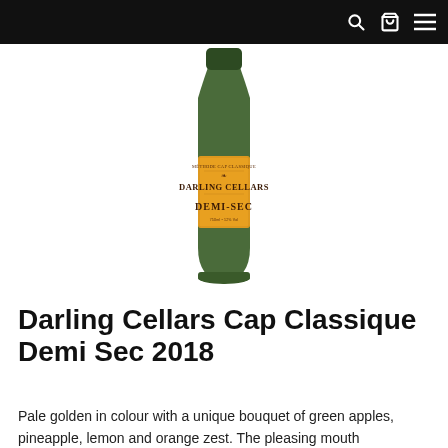navigation bar with search, cart, and menu icons
[Figure (photo): Product photo of Darling Cellars Cap Classique Demi-Sec 2018 wine bottle. Dark green bottle with yellow label reading METHODE CAP CLASSIQUE / DARLING CELLARS / DEMI-SEC.]
Darling Cellars Cap Classique Demi Sec 2018
Pale golden in colour with a unique bouquet of green apples, pineapple, lemon and orange zest. The pleasing mouth...